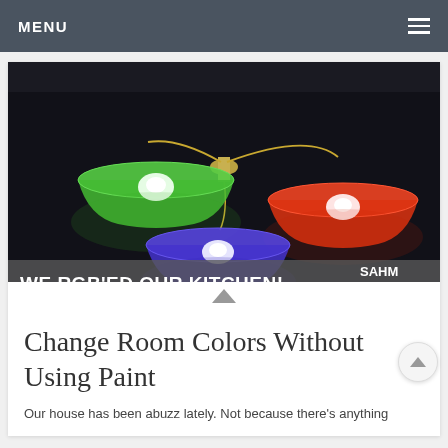MENU
[Figure (photo): Three colorful pendant lamp shades lit up against a dark ceiling — green (top left), red/orange (top right), and purple/blue (bottom center) — with text overlay reading 'WE RGB'ED OUR KITCHEN!' and SAHM Reviews logo]
Change Room Colors Without Using Paint
Our house has been abuzz lately. Not because there's anything